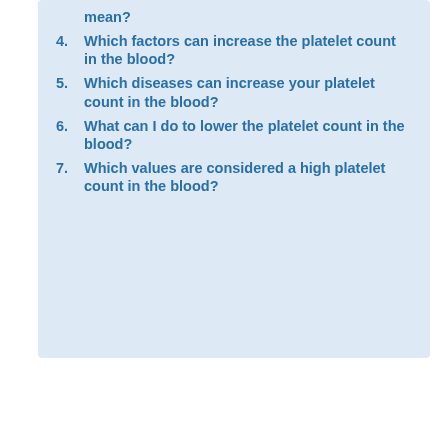mean?
4. Which factors can increase the platelet count in the blood?
5. Which diseases can increase your platelet count in the blood?
6. What can I do to lower the platelet count in the blood?
7. Which values are considered a high platelet count in the blood?